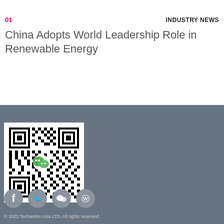[Figure (photo): Dark green aerial/landscape photo strip at top of page]
01
INDUSTRY NEWS
China Adopts World Leadership Role in Renewable Energy
[Figure (other): WeChat QR code with WeChat logo in center, on white background]
[Figure (other): Social media icons: Facebook, Twitter, WeChat, Weibo — circular grey buttons]
© 2022 Techworks Asia LTD. All rights reserved.